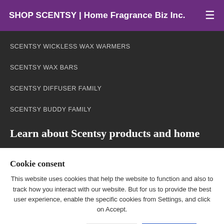SHOP SCENTSY | Home Fragrance Biz Inc.
SCENTSY WICKLESS WAX WARMERS
SCENTSY WAX BARS
SCENTSY DIFFUSER FAMILY
SCENTSY BUDDY FAMILY
Learn about Scentsy products and home
Cookie consent
This website uses cookies that help the website to function and also to track how you interact with our website. But for us to provide the best user experience, enable the specific cookies from Settings, and click on Accept.